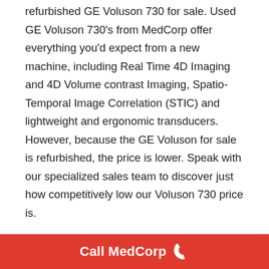refurbished GE Voluson 730 for sale. Used GE Voluson 730's from MedCorp offer everything you'd expect from a new machine, including Real Time 4D Imaging and 4D Volume contrast Imaging, Spatio-Temporal Image Correlation (STIC) and lightweight and ergonomic transducers. However, because the GE Voluson for sale is refurbished, the price is lower. Speak with our specialized sales team to discover just how competitively low our Voluson 730 price is.
OTHER RECOMMENDED MACHINES:
Need similar imaging quality but not sure about this
Call MedCorp